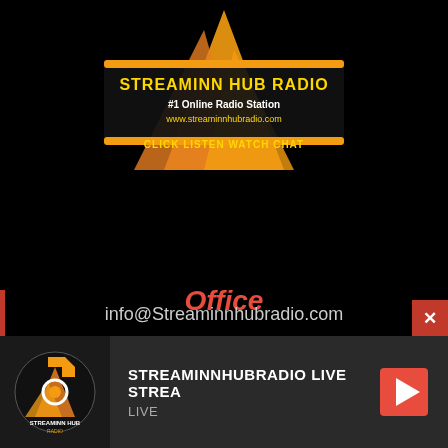[Figure (logo): Streaminn Hub Radio logo - #1 Online Radio Station, www.streaminnhubradio.com, CLICK LISTEN WATCH CHAT]
Office
4555 NW 103 Avenue
Suite 100
Sunrise, FL 33351
(954) 289-8589
info@Streaminnhubradio.com
STREAMINNHUBRADIO LIVE STREA
LIVE